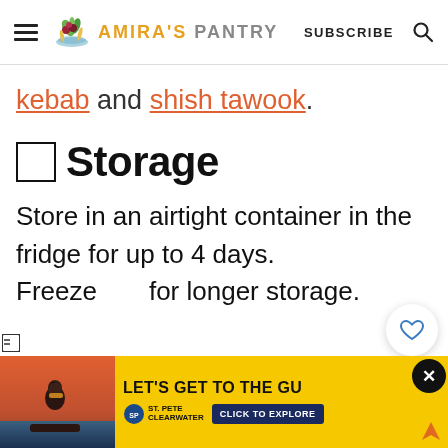AMIRA'S PANTRY — SUBSCRIBE
kebab and shish tawook.
🔲 Storage
Store in an airtight container in the fridge for up to 4 days. Freeze for longer storage.
[Figure (infographic): Yellow advertisement banner for St. Pete Clearwater with photo of woman in sunglasses at pool. Text reads: LET'S GET TO THE GU... CLICK TO EXPLORE]
[Figure (infographic): Floating heart button and teal circle button on right side]